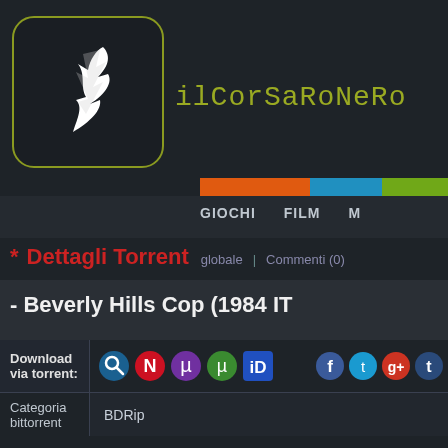[Figure (logo): ilCorSaroNero website logo — white stylized lightning bolt / feather shape inside rounded rectangle with olive-green border]
ilCorSaRoNeRo
GIOCHI   FILM   M
* Dettagli Torrent  globale | Commenti (0)
- Beverly Hills Cop (1984 IT
Download via torrent:
Categoria bittorrent
BDRip